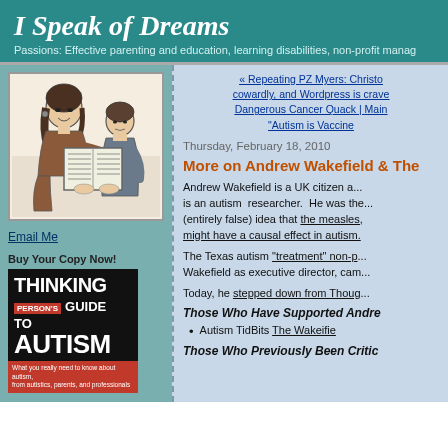I Speak of Dreams
Passions: Effective parenting and education, learning disabilities, non-profit manag...
[Figure (illustration): Black and white sketch illustration of a woman and a boy reading a newspaper together]
Email Me
Buy Your Copy Now!
[Figure (photo): Book cover: Thinking Person's Guide to Autism, black cover with red highlights, subtitle: What you really need to know about autism, from autistics, parents, and professionals]
« Repeating PZ Myers: Christo... cowardly, and Wordpress is crave... Dangerous Cancer Quack | Main... "Autism is Vaccine...
Thursday, February 18, 2010
More on Andrew Wakefield & The...
Andrew Wakefield is a UK citizen a... is an autism researcher. He was the... (entirely false) idea that the measles,... might have a causal effect in autism.
The Texas autism "treatment" non-p... Wakefield as executive director, cam...
Today, he stepped down from Thoug...
Those Who Have Supported Andre...
Autism TidBits The Wakeifie...
Those Who Previously Been Critic...